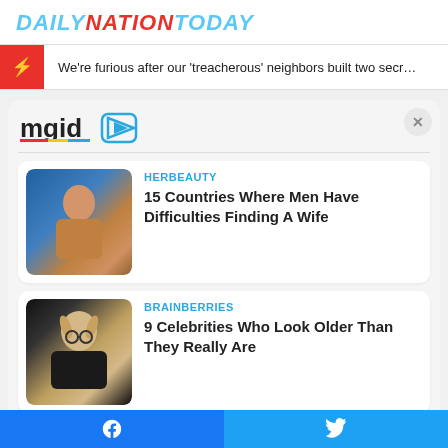DAILYNATIONTODAY
We're furious after our 'treacherous' neighbors built two secr…
[Figure (logo): mgid logo with play button icon]
[Figure (photo): Photo of a muscular man near water]
HERBEAUTY
15 Countries Where Men Have Difficulties Finding A Wife
[Figure (photo): Photo of a blonde woman with glasses]
BRAINBERRIES
9 Celebrities Who Look Older Than They Really Are
Facebook | Twitter